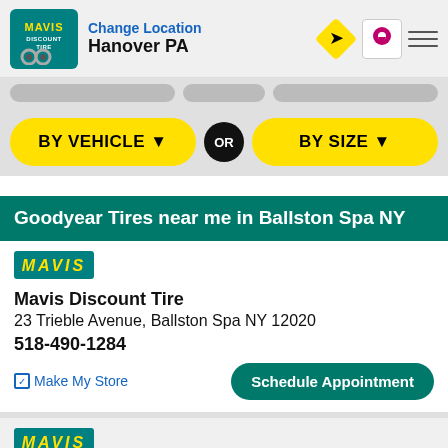Change Location | Hanover PA
BY VEHICLE ▼  OR  BY SIZE ▼
Goodyear Tires near me in Ballston Spa NY
[Figure (logo): Mavis Discount Tire logo badge]
Mavis Discount Tire
23 Trieble Avenue, Ballston Spa NY 12020
518-490-1284
☑ Make My Store    Schedule Appointment
[Figure (logo): Mavis Discount Tire logo badge (second listing)]
Mavis Discount Tire
...dway, Saratoga Springs NY 12866
Call Store